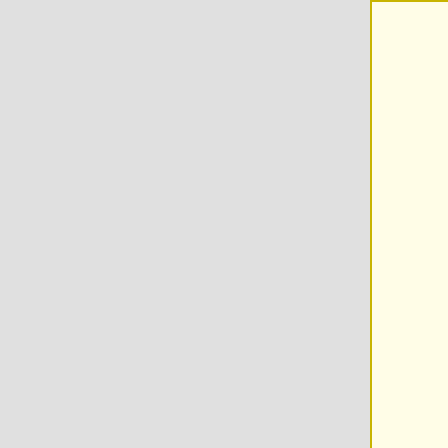search menu should appear. The menu should display <tt>Command Prompt</tt>. Left-click or tap the <tt>Command Prompt icon</tt>.
;#Change to the drive containing the GnuCash program files (usually C drive) if that is not already the current drive: <SyntaxHighlight lang="bat">C:
#;Windows 8 (or Windows 10 in Tablet Mode):From the Start screen, begin typing <tt>cmd</tt>, a search menu should appear. The menu should display <tt>Command